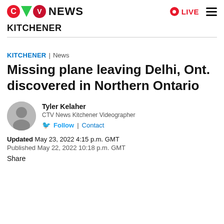CTV News | KITCHENER
KITCHENER | News
Missing plane leaving Delhi, Ont. discovered in Northern Ontario
[Figure (photo): Headshot photo of Tyler Kelaher, a man in a suit]
Tyler Kelaher
CTV News Kitchener Videographer
Follow | Contact
Updated May 23, 2022 4:15 p.m. GMT
Published May 22, 2022 10:18 p.m. GMT
Share